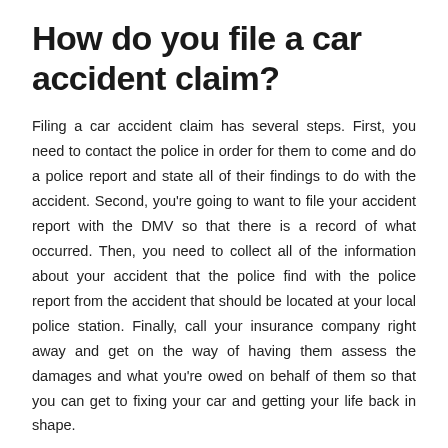How do you file a car accident claim?
Filing a car accident claim has several steps. First, you need to contact the police in order for them to come and do a police report and state all of their findings to do with the accident. Second, you're going to want to file your accident report with the DMV so that there is a record of what occurred. Then, you need to collect all of the information about your accident that the police find with the police report from the accident that should be located at your local police station. Finally, call your insurance company right away and get on the way of having them assess the damages and what you're owed on behalf of them so that you can get to fixing your car and getting your life back in shape.
When should you find an attorney for a car